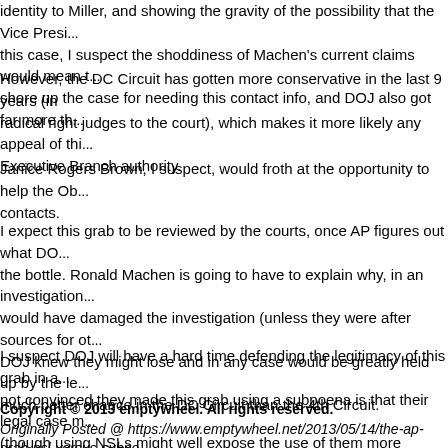identity to Miller, and showing the gravity of the possibility that the Vice Presi... this case, I suspect the shoddiness of Machen's current claims would mean t... shore up the case for needing this contact info, and DOJ also got far more th...
However, the DC Circuit has gotten more conservative in the last 9 years (in radical right judges to the court), which makes it more likely any appeal of thi... Executive Branch authority.
Janice Rogers Brown, I suspect, would froth at the opportunity to help the Ob... contacts.
I expect this grab to be reviewed by the courts, once AP figures out what DO... the bottle. Ronald Machen is going to have to explain why, in an investigation... would have damaged the investigation (unless they were after sources for ot... DOJ knew they might lose and in any case would be greatly held up by the le... much better chance in the DC Circuit than the 4th Circuit.
I suspect DOJ will have a hard time defending the legitimacy of this grab in a... not convinced they made this grab using a subpoena is that their legal case m... (though using NSLs might well expose the use of them more generally to rev...
Copyright © 2013 emptywheel. All rights reserved.
Originally Posted @ https://www.emptywheel.net/2013/05/14/the-ap-grab-nsl-versus-subpo...